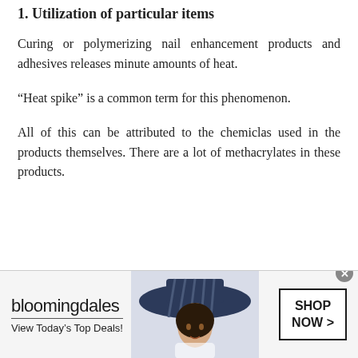1. Utilization of particular items
Curing or polymerizing nail enhancement products and adhesives releases minute amounts of heat.
“Heat spike” is a common term for this phenomenon.
All of this can be attributed to the chemiclas used in the products themselves. There are a lot of methacrylates in these products.
[Figure (other): Bloomingdale's advertisement banner showing logo, 'View Today's Top Deals!' tagline, a woman in a wide-brim hat, and a 'SHOP NOW >' button]